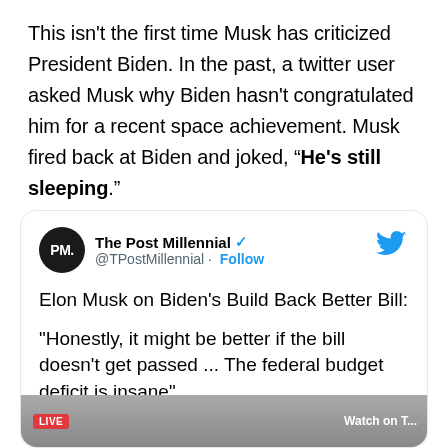This isn't the first time Musk has criticized President Biden. In the past, a twitter user asked Musk why Biden hasn't congratulated him for a recent space achievement. Musk fired back at Biden and joked, “He's still sleeping.”
[Figure (screenshot): Embedded tweet from @TPostMillennial (The Post Millennial, verified) with Twitter bird logo. Tweet text: 'Elon Musk on Biden's Build Back Better Bill: "Honestly, it might be better if the bill doesn't get passed ... The federal budget deficit is insane"'. Below the tweet text is a partially visible live video thumbnail.]